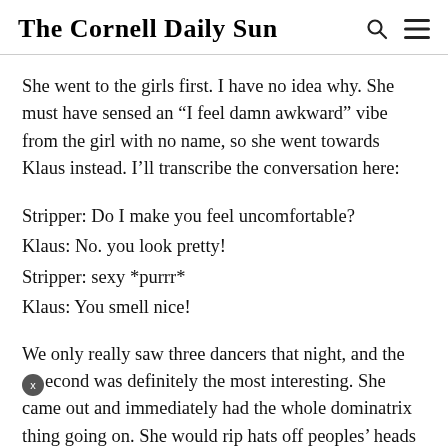The Cornell Daily Sun
She went to the girls first. I have no idea why. She must have sensed an “I feel damn awkward” vibe from the girl with no name, so she went towards Klaus instead. I’ll transcribe the conversation here:
Stripper: Do I make you feel uncomfortable?
Klaus: No. you look pretty!
Stripper: sexy *purrr*
Klaus: You smell nice!
We only really saw three dancers that night, and the second was definitely the most interesting. She came out and immediately had the whole dominatrix thing going on. She would rip hats off peoples’ heads or choke them with the drawstrings of their hoodies. I admit it was the kind of thing that you can’t stop staring at no matter